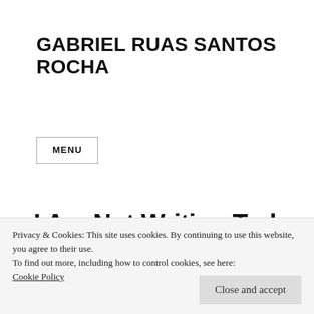GABRIEL RUAS SANTOS ROCHA
MENU
I Am Not Writing Today
Privacy & Cookies: This site uses cookies. By continuing to use this website, you agree to their use.
To find out more, including how to control cookies, see here:
Cookie Policy
Close and accept